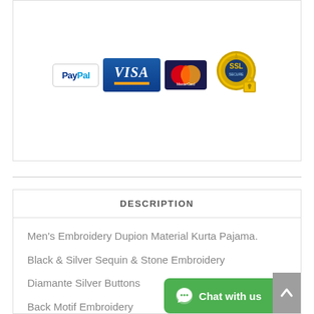[Figure (infographic): Payment method icons: PayPal, Visa, MasterCard, and SSL security badge with padlock]
DESCRIPTION
Men's Embroidery Dupion Material Kurta Pajama.
Black & Silver Sequin & Stone Embroidery
Diamante Silver Buttons
Back Motif Embroidery
Buttoned Cuff Sleeves
2 Side Pockets